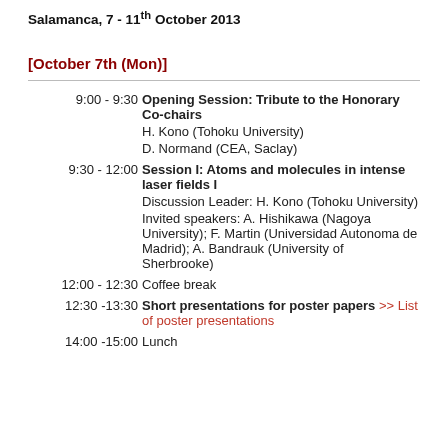Salamanca, 7 - 11th October 2013
[October 7th (Mon)]
| Time | Event |
| --- | --- |
| 9:00 - 9:30 | Opening Session: Tribute to the Honorary Co-chairs
H. Kono (Tohoku University)
D. Normand (CEA, Saclay) |
| 9:30 - 12:00 | Session I: Atoms and molecules in intense laser fields I
Discussion Leader: H. Kono (Tohoku University)
Invited speakers: A. Hishikawa (Nagoya University); F. Martin (Universidad Autonoma de Madrid); A. Bandrauk (University of Sherbrooke) |
| 12:00 - 12:30 | Coffee break |
| 12:30 -13:30 | Short presentations for poster papers >> List of poster presentations |
| 14:00 -15:00 | Lunch |